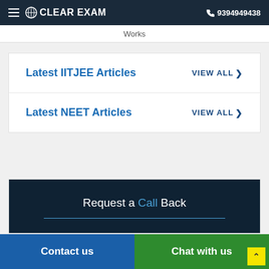CLEAR EXAM  9394949438
Works
Latest IITJEE Articles  VIEW ALL
Latest NEET Articles  VIEW ALL
Request a Call Back
Contact us   Chat with us